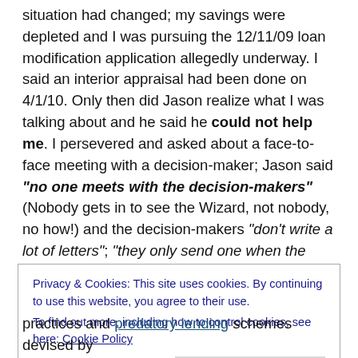situation had changed; my savings were depleted and I was pursuing the 12/11/09 loan modification application allegedly underway. I said an interior appraisal had been done on 4/1/10. Only then did Jason realize what I was talking about and he said he could not help me. I persevered and asked about a face-to-face meeting with a decision-maker; Jason said "no one meets with the decision-makers" (Nobody gets in to see the Wizard, not nobody, no how!) and the decision-makers "don't write a lot of letters"; "they only send one when the decision is made".
Privacy & Cookies: This site uses cookies. By continuing to use this website, you agree to their use. To find out more, including how to control cookies, see here: Cookie Policy
practices and predatory lending schemes devised by